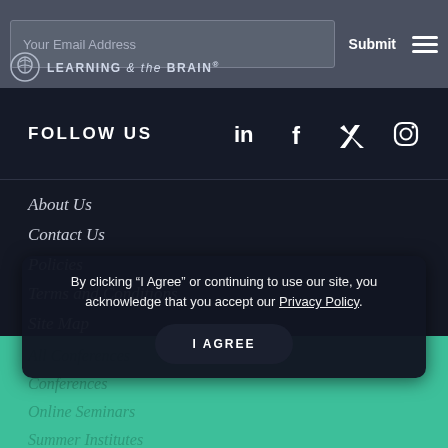Your Email Address | Submit
[Figure (logo): Learning & the Brain logo with brain icon]
FOLLOW US
[Figure (infographic): Social media icons: LinkedIn, Facebook, Twitter, Instagram]
About Us
Contact Us
Policies
Terms and Conditions
Site Map
All Conferences
Conferences
Online Seminars
Summer Institutes
By clicking “I Agree” or continuing to use our site, you acknowledge that you accept our Privacy Policy.
I AGREE